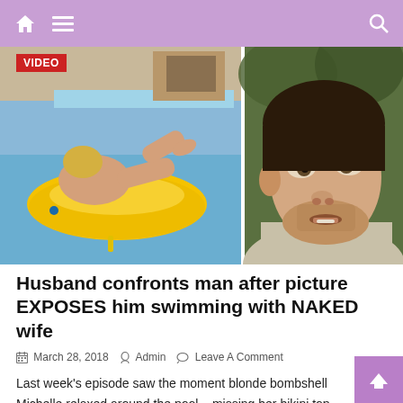Navigation bar with home, menu, and search icons
[Figure (photo): Two-panel composite image: left panel shows a blonde woman lying on a yellow inflatable float in a swimming pool, viewed from behind; right panel shows a close-up of a young man with stubble looking to the side]
Husband confronts man after picture EXPOSES him swimming with NAKED wife
March 28, 2018  Admin  Leave A Comment
Last week's episode saw the moment blonde bombshell Michelle relaxed around the pool – missing her bikini top. And during one scene, she asked new partner Tom to hand her the